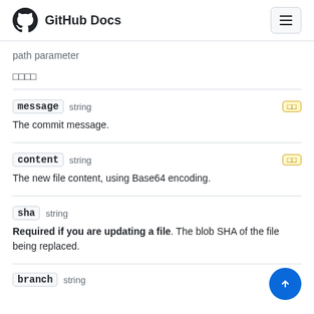GitHub Docs
path parameter
□□□□
message  string  — The commit message.
content  string  — The new file content, using Base64 encoding.
sha  string  — Required if you are updating a file. The blob SHA of the file being replaced.
branch  string